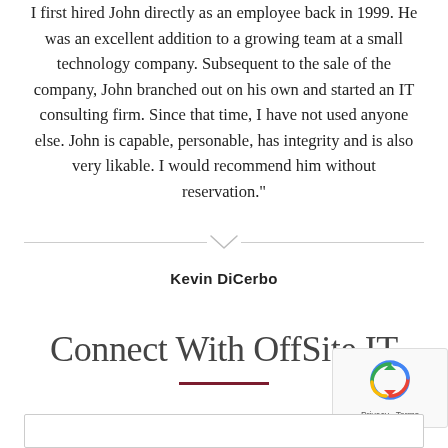I first hired John directly as an employee back in 1999. He was an excellent addition to a growing team at a small technology company. Subsequent to the sale of the company, John branched out on his own and started an IT consulting firm. Since that time, I have not used anyone else. John is capable, personable, has integrity and is also very likable. I would recommend him without reservation."
[Figure (illustration): Horizontal divider line with a downward-pointing chevron/arrow in the center]
Kevin DiCerbo
Connect With OffSite IT
[Figure (other): reCAPTCHA widget with circular arrow logo and Privacy - Terms text]